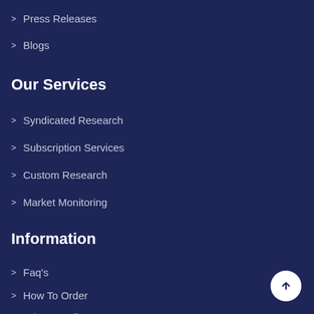Press Releases
Blogs
Our Services
Syndicated Research
Subscription Services
Custom Research
Market Monitoring
Information
Faq's
How To Order
Privacy Policy